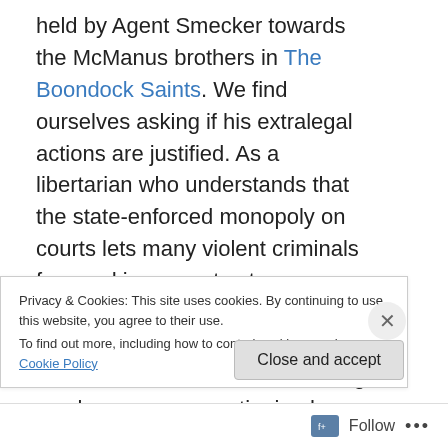held by Agent Smecker towards the McManus brothers in The Boondock Saints. We find ourselves asking if his extralegal actions are justified. As a libertarian who understands that the state-enforced monopoly on courts lets many violent criminals free and incarcerates too many nonviolent offenders, I find his actions justifiable, even if theatrical in nature. The Following can be seen as questioning how powerful the cult of personality is and hopefully lead even those of a non-libertarian persuasion to evaluate who they follow or the actions they take for another person or entity. In Revolution, we are shown what
Privacy & Cookies: This site uses cookies. By continuing to use this website, you agree to their use.
To find out more, including how to control cookies, see here: Cookie Policy
Close and accept
Follow